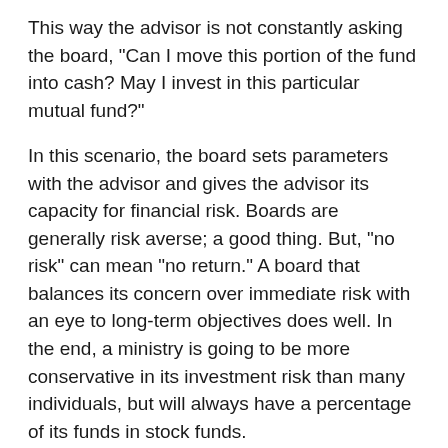This way the advisor is not constantly asking the board, "Can I move this portion of the fund into cash? May I invest in this particular mutual fund?"
In this scenario, the board sets parameters with the advisor and gives the advisor its capacity for financial risk. Boards are generally risk averse; a good thing. But, "no risk" can mean "no return." A board that balances its concern over immediate risk with an eye to long-term objectives does well. In the end, a ministry is going to be more conservative in its investment risk than many individuals, but will always have a percentage of its funds in stock funds.
Two quick notes
First, a ministry may want its stock investments to reflect the ministry's views on abortion, not